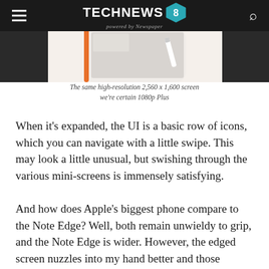TECHNEWS 8 — powered by Newspaper
[Figure (photo): Partial view of a smartphone with orange trim against a white background, showing the top edge of the device.]
The same high-resolution 2,560 x 1,600 screen we're certain 1080p Plus
When it's expanded, the UI is a basic row of icons, which you can navigate with a little swipe. This may look a little unusual, but swishing through the various mini-screens is immensely satisfying.
And how does Apple's biggest phone compare to the Note Edge? Well, both remain unwieldy to grip, and the Note Edge is wider. However, the edged screen nuzzles into my hand better and those